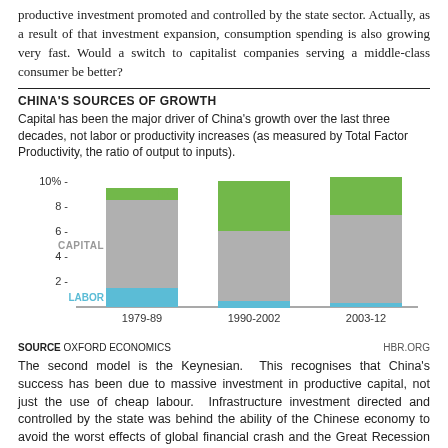productive investment promoted and controlled by the state sector. Actually, as a result of that investment expansion, consumption spending is also growing very fast. Would a switch to capitalist companies serving a middle-class consumer be better?
CHINA'S SOURCES OF GROWTH
Capital has been the major driver of China's growth over the last three decades, not labor or productivity increases (as measured by Total Factor Productivity, the ratio of output to inputs).
[Figure (stacked-bar-chart): China's Sources of Growth]
SOURCE OXFORD ECONOMICS   HBR.ORG
The second model is the Keynesian. This recognises that China's success has been due to massive investment in productive capital, not just the use of cheap labour. Infrastructure investment directed and controlled by the state was behind the ability of the Chinese economy to avoid the worst effects of global financial crash and the Great Recession where every other economy